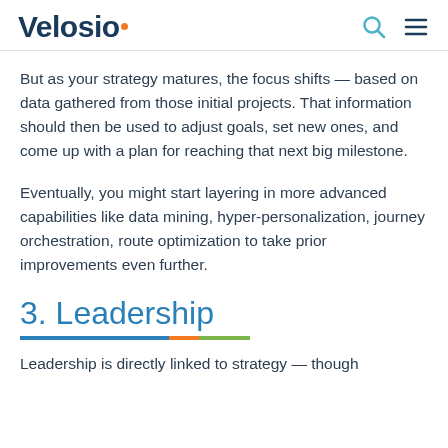Velosio
But as your strategy matures, the focus shifts — based on data gathered from those initial projects. That information should then be used to adjust goals, set new ones, and come up with a plan for reaching that next big milestone.
Eventually, you might start layering in more advanced capabilities like data mining, hyper-personalization, journey orchestration, route optimization to take prior improvements even further.
3. Leadership
Leadership is directly linked to strategy — though